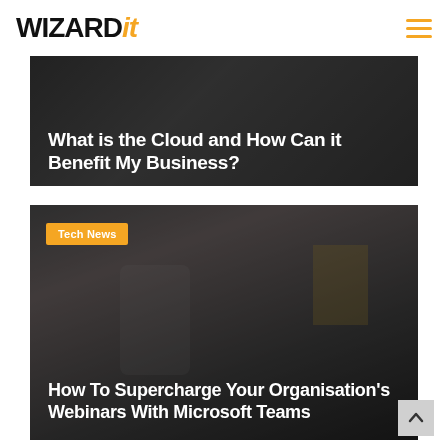WIZARDit
[Figure (screenshot): Dark banner image with headline: What is the Cloud and How Can it Benefit My Business?]
What is the Cloud and How Can it Benefit My Business?
[Figure (photo): Dark-toned photo of person looking at phone showing charts, with documents in background. Badge: Tech News. Headline: How To Supercharge Your Organisation's Webinars With Microsoft Teams]